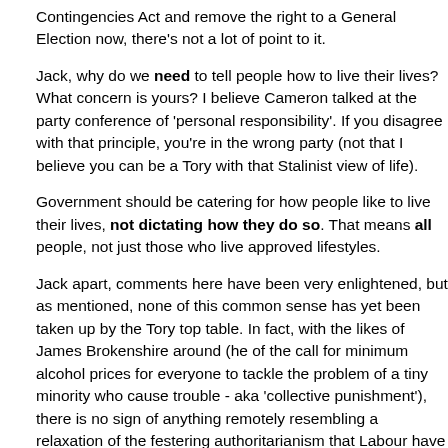Contingencies Act and remove the right to a General Election now, there's not a lot of point to it.
Jack, why do we need to tell people how to live their lives? What concern is yours? I believe Cameron talked at the party conference of 'personal responsibility'. If you disagree with that principle, you're in the wrong party (not that I believe you can be a Tory with that Stalinist view of life).
Government should be catering for how people like to live their lives, not dictating how they do so. That means all people, not just those who live approved lifestyles.
Jack apart, comments here have been very enlightened, but as mentioned, none of this common sense has yet been taken up by the Tory top table. In fact, with the likes of James Brokenshire around (he of the call for minimum alcohol prices for everyone to tackle the problem of a tiny minority who cause trouble - aka 'collective punishment'), there is no sign of anything remotely resembling a relaxation of the festering authoritarianism that Labour have inflicted for the last 12 years.
Oh yeah, as for pubs, amend the smoking ban, job done. It will require freeing of mind from the incessant hypnotism spouted by fake charities and heavily pharmaceutical-funded special interest groups, but why not? I still find it quite laughable that their advice is never taken with even a modicum of cynicism, or mind employed as reason to ride roughshod over manifesto commitments w...